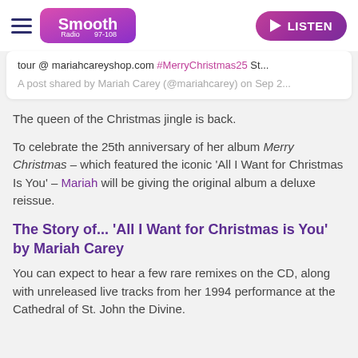Smooth Radio 97-108 | LISTEN
tour @ mariahcareyshop.com #MerryChristmas25 ...
A post shared by Mariah Carey (@mariahcarey) on Sep 2...
The queen of the Christmas jingle is back.
To celebrate the 25th anniversary of her album Merry Christmas – which featured the iconic 'All I Want for Christmas Is You' – Mariah will be giving the original album a deluxe reissue.
The Story of... 'All I Want for Christmas is You' by Mariah Carey
You can expect to hear a few rare remixes on the CD, along with unreleased live tracks from her 1994 performance at the Cathedral of St. John the Divine.